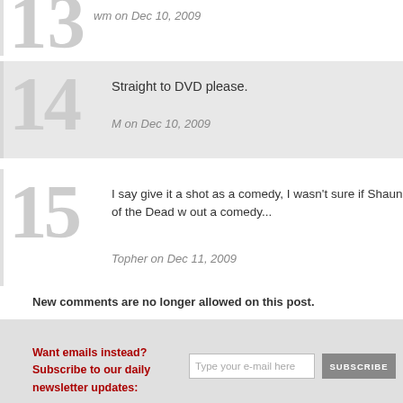wm on Dec 10, 2009
Straight to DVD please.
M on Dec 10, 2009
I say give it a shot as a comedy, I wasn't sure if Shaun of the Dead w... out a comedy...
Topher on Dec 11, 2009
New comments are no longer allowed on this post.
Want emails instead? Subscribe to our daily newsletter updates: